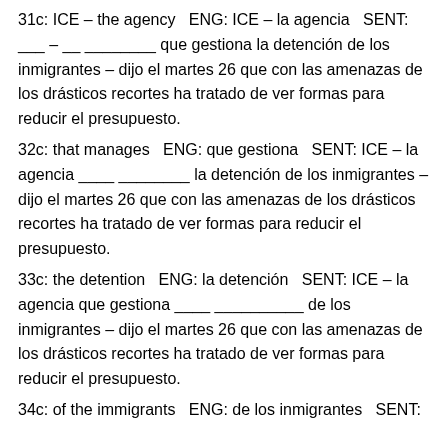31c: ICE – the agency  ENG: ICE – la agencia  SENT: ___ – __ ________ que gestiona la detención de los inmigrantes – dijo el martes 26 que con las amenazas de los drásticos recortes ha tratado de ver formas para reducir el presupuesto.
32c: that manages  ENG: que gestiona  SENT: ICE – la agencia ____ ________ la detención de los inmigrantes – dijo el martes 26 que con las amenazas de los drásticos recortes ha tratado de ver formas para reducir el presupuesto.
33c: the detention  ENG: la detención  SENT: ICE – la agencia que gestiona ____ __________ de los inmigrantes – dijo el martes 26 que con las amenazas de los drásticos recortes ha tratado de ver formas para reducir el presupuesto.
34c: of the immigrants  ENG: de los inmigrantes  SENT: